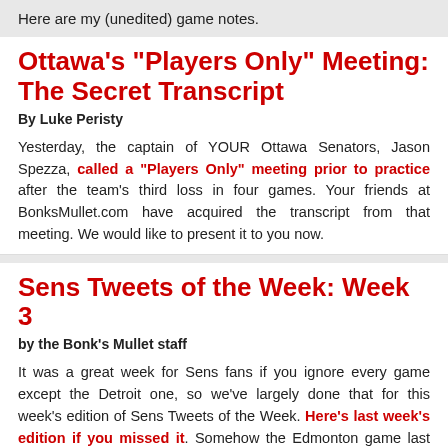Here are my (unedited) game notes.
Ottawa's "Players Only" Meeting: The Secret Transcript
By Luke Peristy
Yesterday, the captain of YOUR Ottawa Senators, Jason Spezza, called a "Players Only" meeting prior to practice after the team's third loss in four games. Your friends at BonksMullet.com have acquired the transcript from that meeting. We would like to present it to you now.
Sens Tweets of the Week: Week 3
by the Bonk's Mullet staff
It was a great week for Sens fans if you ignore every game except the Detroit one, so we've largely done that for this week's edition of Sens Tweets of the Week. Here's last week's edition if you missed it. Somehow the Edmonton game last Sunday got lost in between our two...